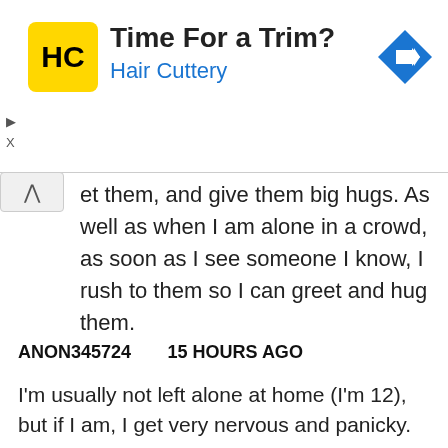[Figure (screenshot): Advertisement banner for Hair Cuttery with yellow logo showing 'HC', text 'Time For a Trim?' and 'Hair Cuttery' in blue, and a blue diamond navigation arrow icon on the right.]
et them, and give them big hugs. As well as when I am alone in a crowd, as soon as I see someone I know, I rush to them so I can greet and hug them.
ANON345724        15 HOURS AGO
I'm usually not left alone at home (I'm 12), but if I am, I get very nervous and panicky. This fear thing doesn't work very well for the area I live in. either. We have tornado watches frequently, and ironically, I'm left alone during most of them, and it's hard...